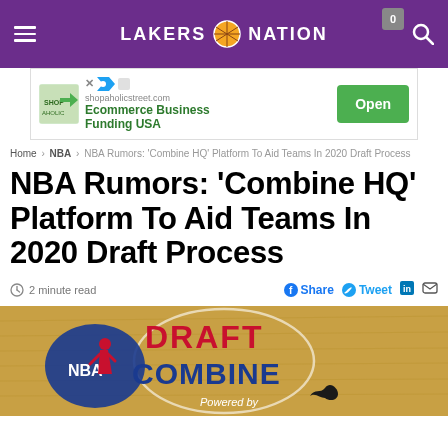LAKERS NATION
[Figure (screenshot): Advertisement banner for shopaholicstreet.com - Ecommerce Business Funding USA with Open button]
Home > NBA > NBA Rumors: 'Combine HQ' Platform To Aid Teams In 2020 Draft Process
NBA Rumors: 'Combine HQ' Platform To Aid Teams In 2020 Draft Process
2 minute read
[Figure (photo): NBA Draft Combine logo on basketball court floor, showing NBA logo, DRAFT COMBINE text in red and blue, Powered by Under Armour]